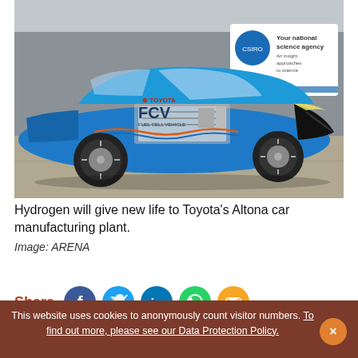[Figure (photo): Toyota FCV (Fuel Cell Vehicle) blue car parked outside a building with a CSIRO 'Your national science agency' banner visible in the background.]
Hydrogen will give new life to Toyota's Altona car manufacturing plant.
Image: ARENA
Share
This website uses cookies to anonymously count visitor numbers. To find out more, please see our Data Protection Policy.